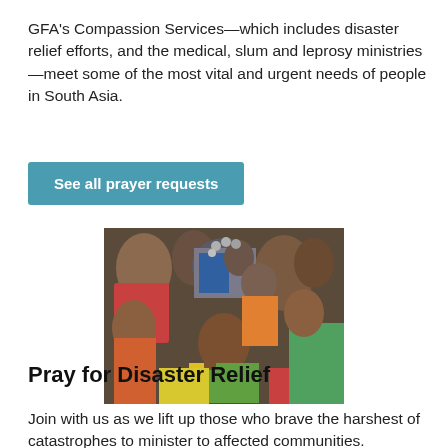GFA's Compassion Services—which includes disaster relief efforts, and the medical, slum and leprosy ministries—meet some of the most vital and urgent needs of people in South Asia.
See all prayer requests
[Figure (photo): A man carrying a child on his shoulders in a crowded outdoor scene, with people in colorful clothing visible in the background.]
Pray for Disaster Relief
Join with us as we lift up those who brave the harshest of catastrophes to minister to affected communities.